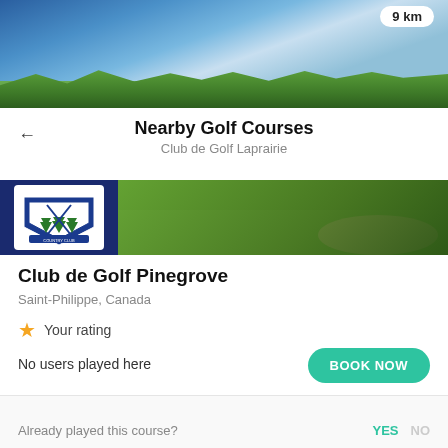[Figure (photo): Golf course banner photo showing blue sky with wispy clouds and green trees]
Nearby Golf Courses
Club de Golf Laprairie
[Figure (photo): Club de Golf Pinegrove country club logo (shield with crossed golf clubs and pine trees, blue and green) alongside a green golf course fairway photo]
Club de Golf Pinegrove
Saint-Philippe, Canada
Your rating
No users played here
BOOK NOW
Already played this course?
YES   NO